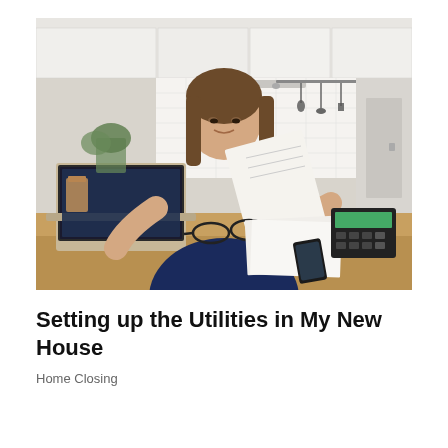[Figure (photo): A young woman with shoulder-length brown hair, wearing a dark navy blue top, sits at a wooden kitchen counter. She is holding and reading a document/paper. In front of her is an open laptop, a pair of glasses, papers, and a calculator. The background shows a modern kitchen with white cabinets, a white tile backsplash, hanging kitchen utensils, and kitchen appliances.]
Setting up the Utilities in My New House
Home Closing